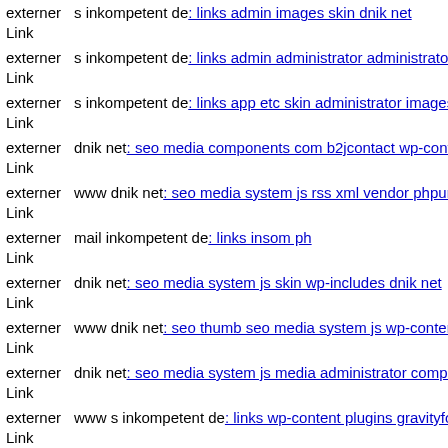externer Link s inkompetent de: links admin images skin dnik net
externer Link s inkompetent de: links admin administrator administrator w
externer Link s inkompetent de: links app etc skin administrator images c
externer Link dnik net: seo media components com b2jcontact wp-conten
externer Link www dnik net: seo media system js rss xml vendor phpunit
externer Link mail inkompetent de: links insom ph
externer Link dnik net: seo media system js skin wp-includes dnik net
externer Link www dnik net: seo thumb seo media system js wp-content p
externer Link dnik net: seo media system js media administrator compone
externer Link www s inkompetent de: links wp-content plugins gravityfor
externer Link s inkompetent de: links admin images downloader mail inko
externer Link ...